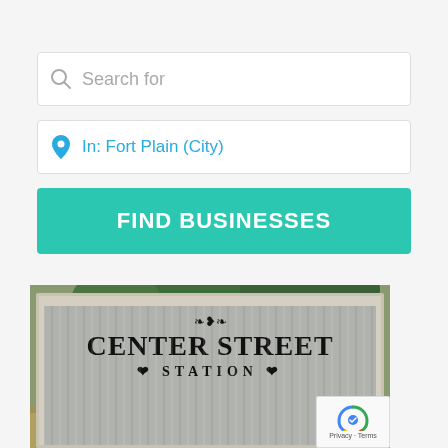[Figure (screenshot): Search input box with placeholder text 'Search for' and a magnifying glass icon on the left]
[Figure (screenshot): Location input box showing a blue map pin icon and text 'In: Fort Plain (City)' in blue]
[Figure (screenshot): Teal/turquoise button labeled 'FIND BUSINESSES' in white bold text]
[Figure (photo): Photo of a rustic corrugated metal sign with white wooden frame reading 'CENTER STREET STATION' with decorative flourishes, set outdoors with trees in background. A reCAPTCHA badge is visible in the bottom right corner.]